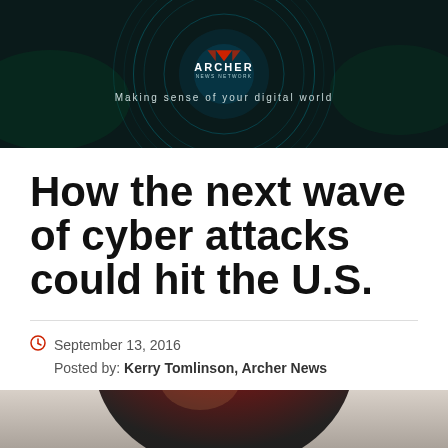[Figure (logo): Archer News Network banner with logo and tagline 'Making sense of your digital world' on dark background with circular tech graphics]
How the next wave of cyber attacks could hit the U.S.
September 13, 2016
Posted by: Kerry Tomlinson, Archer News
[Figure (photo): Partial photo of a camera or cylindrical object with dark and reddish tones at bottom of page]